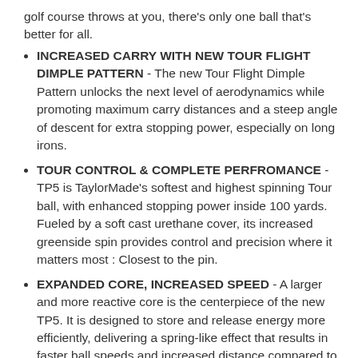golf course throws at you, there's only one ball that's better for all.
INCREASED CARRY WITH NEW TOUR FLIGHT DIMPLE PATTERN - The new Tour Flight Dimple Pattern unlocks the next level of aerodynamics while promoting maximum carry distances and a steep angle of descent for extra stopping power, especially on long irons.
TOUR CONTROL & COMPLETE PERFROMANCE - TP5 is TaylorMade's softest and highest spinning Tour ball, with enhanced stopping power inside 100 yards. Fueled by a soft cast urethane cover, its increased greenside spin provides control and precision where it matters most : Closest to the pin.
EXPANDED CORE, INCREASED SPEED - A larger and more reactive core is the centerpiece of the new TP5. It is designed to store and release energy more efficiently, delivering a spring-like effect that results in faster ball speeds and increased distance compared to its predecessor.